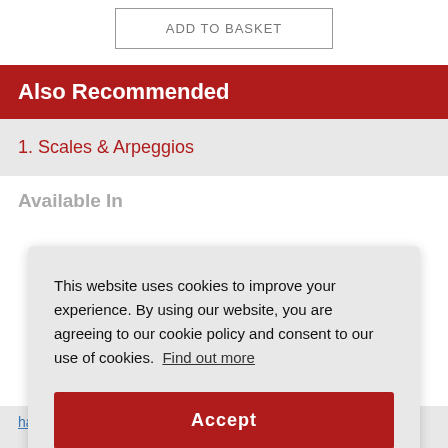ADD TO BASKET
Also Recommended
1. Scales & Arpeggios
Available In
This website uses cookies to improve your experience. By using our website, you are agreeing to our cookie policy and consent to our use of cookies. Find out more
Accept
harp (Grade 1-5) (Piano)